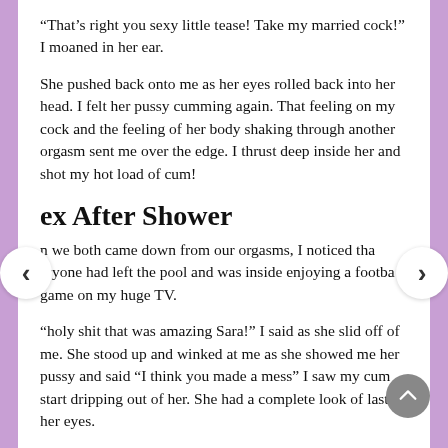“That’s right you sexy little tease! Take my married cock!” I moaned in her ear.
She pushed back onto me as her eyes rolled back into her head. I felt her pussy cumming again. That feeling on my cock and the feeling of her body shaking through another orgasm sent me over the edge. I thrust deep inside her and shot my hot load of cum!
ex After Shower
n we both came down from our orgasms, I noticed tha eryone had left the pool and was inside enjoying a footba game on my huge TV.
“holy shit that was amazing Sara!” I said as she slid off of me. She stood up and winked at me as she showed me her pussy and said “I think you made a mess” I saw my cum start dripping out of her. She had a complete look of last in her eyes.
“go upstairs and use my shower to clean up before Andrew